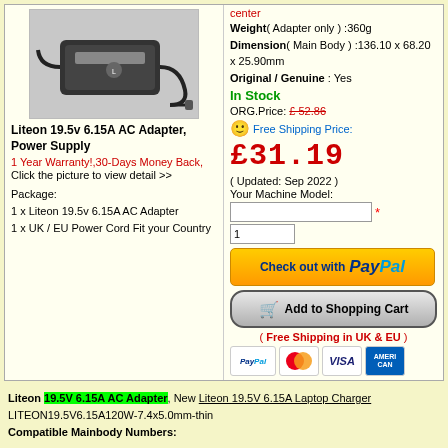[Figure (photo): Photo of Liteon AC adapter/power supply unit]
Liteon 19.5v 6.15A AC Adapter, Power Supply
1 Year Warranty!,30-Days Money Back,
Click the picture to view detail >>
Package:
1 x Liteon 19.5v 6.15A AC Adapter
1 x UK / EU Power Cord Fit your Country
center
Weight( Adapter only ) :360g
Dimension( Main Body ) :136.10 x 68.20 x 25.90mm
Original / Genuine : Yes
In Stock
ORG.Price: £ 52.86
Free Shipping Price:
£31.19
( Updated: Sep 2022 )
Your Machine Model:
( Free Shipping in UK & EU )
Liteon 19.5V 6.15A AC Adapter, New Liteon 19.5V 6.15A Laptop Charger LITEON19.5V6.15A120W-7.4x5.0mm-thin
Compatible Mainbody Numbers:
PA-1121-26
Fit Machine Model:(Only list part of all the Fit Model)